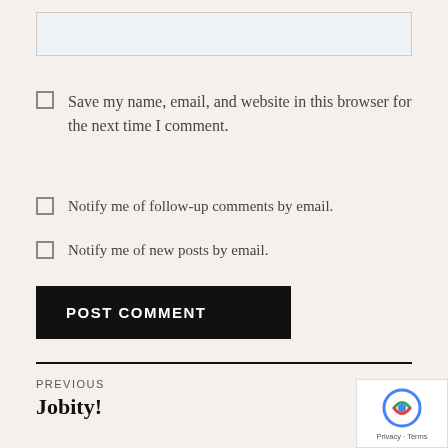[Figure (screenshot): Text input area / textarea box at top of page]
Save my name, email, and website in this browser for the next time I comment.
Notify me of follow-up comments by email.
Notify me of new posts by email.
POST COMMENT
PREVIOUS
Jobity!